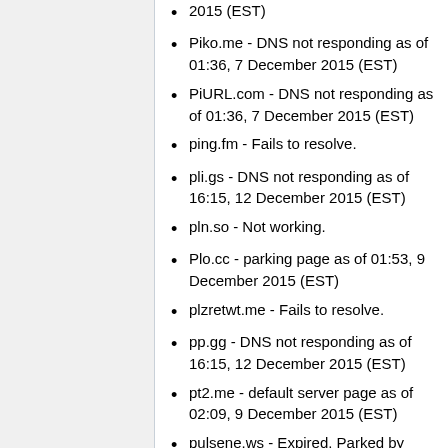2015 (EST)
Piko.me - DNS not responding as of 01:36, 7 December 2015 (EST)
PiURL.com - DNS not responding as of 01:36, 7 December 2015 (EST)
ping.fm - Fails to resolve.
pli.gs - DNS not responding as of 16:15, 12 December 2015 (EST)
pln.so - Not working.
Plo.cc - parking page as of 01:53, 9 December 2015 (EST)
plzretwt.me - Fails to resolve.
pp.gg - DNS not responding as of 16:15, 12 December 2015 (EST)
pt2.me - default server page as of 02:09, 9 December 2015 (EST)
pulsene.ws - Expired. Parked by GoDaddy.
Puke.lt - parking page as of 02:09, 9